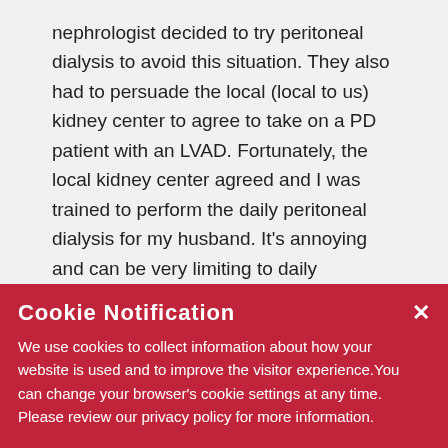nephrologist decided to try peritoneal dialysis to avoid this situation. They also had to persuade the local (local to us) kidney center to agree to take on a PD patient with an LVAD. Fortunately, the local kidney center agreed and I was trained to perform the daily peritoneal dialysis for my husband. It's annoying and can be very limiting to daily activities. In his case, the peritoneal dialysis cannot be done at night using a PD machine because the placement of his PD catheter is not optimum. Since he had such a difficult recovery from the LVAD surgery (months in the hospital and still very [faded: he is not a candidate for ...] [faded: ...e is still alive ...] [faded: ...new...] [faded: lifestyle, if peritoneal dialysis hasn't already been ruled out by your husband's LVAD team, it might be]
Cookie Notification
We use cookies to collect information about how your website is used and to improve the visitor experience. You can change your browser's cookie settings at any time. Please review our privacy policy for more information.